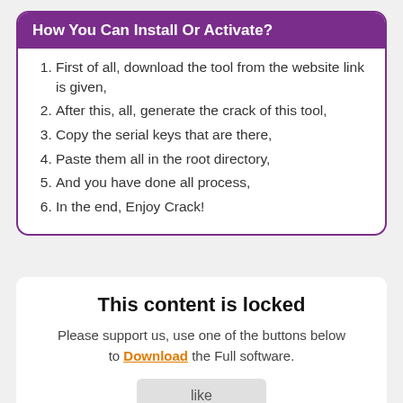How You Can Install Or Activate?
First of all, download the tool from the website link is given,
After this, all, generate the crack of this tool,
Copy the serial keys that are there,
Paste them all in the root directory,
And you have done all process,
In the end, Enjoy Crack!
This content is locked
Please support us, use one of the buttons below to Download the Full software.
like